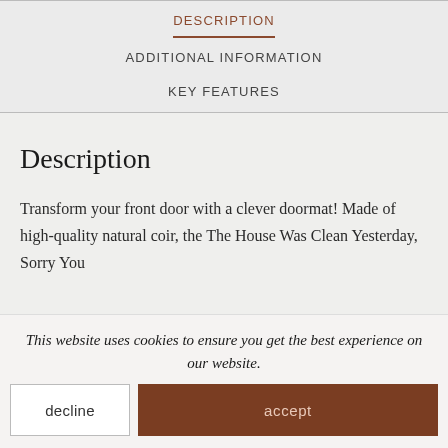DESCRIPTION
ADDITIONAL INFORMATION
KEY FEATURES
Description
Transform your front door with a clever doormat! Made of high-quality natural coir, the The House Was Clean Yesterday, Sorry You
This website uses cookies to ensure you get the best experience on our website.